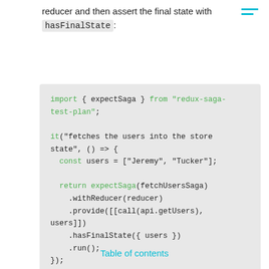reducer and then assert the final state with hasFinalState:
[Figure (screenshot): Code block showing JavaScript import of expectSaga from redux-saga-test-plan and a test using it("fetches the users into the store state", () => { const users = ["Jeremy", "Tucker"]; return expectSaga(fetchUsersSaga).withReducer(reducer).provide([[call(api.getUsers), users]]).hasFinalState({ users }).run(); });]
Table of contents